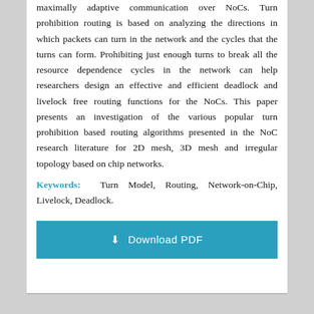maximally adaptive communication over NoCs. Turn prohibition routing is based on analyzing the directions in which packets can turn in the network and the cycles that the turns can form. Prohibiting just enough turns to break all the resource dependence cycles in the network can help researchers design an effective and efficient deadlock and livelock free routing functions for the NoCs. This paper presents an investigation of the various popular turn prohibition based routing algorithms presented in the NoC research literature for 2D mesh, 3D mesh and irregular topology based on chip networks.
Keywords: Turn Model, Routing, Network-on-Chip, Livelock, Deadlock.
[Figure (other): Download PDF button — a teal/cyan rectangular button with download icon and text 'Download PDF']